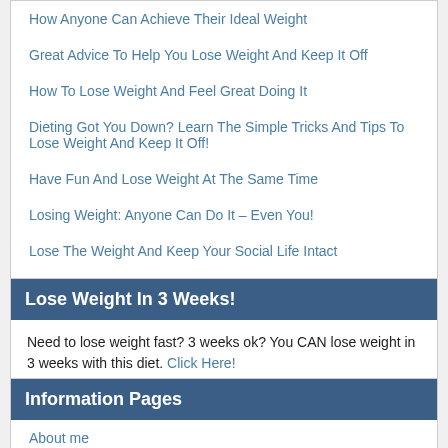How Anyone Can Achieve Their Ideal Weight
Great Advice To Help You Lose Weight And Keep It Off
How To Lose Weight And Feel Great Doing It
Dieting Got You Down? Learn The Simple Tricks And Tips To Lose Weight And Keep It Off!
Have Fun And Lose Weight At The Same Time
Losing Weight: Anyone Can Do It – Even You!
Lose The Weight And Keep Your Social Life Intact
Achieve And Maintain Your Ideal Weight With These Tips
Lose Weight In 3 Weeks!
Need to lose weight fast? 3 weeks ok? You CAN lose weight in 3 weeks with this diet. Click Here!
Information Pages
About me